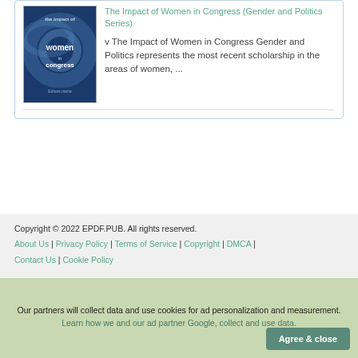[Figure (illustration): Book cover for 'The Impact of Women in Congress (Gender and Politics Series)' - dark blue cover with swirling pattern and white text]
The Impact of Women in Congress (Gender and Politics Series)
v The Impact of Women in Congress Gender and Politics represents the most recent scholarship in the areas of women, ...
Copyright © 2022 EPDF.PUB. All rights reserved. About Us | Privacy Policy | Terms of Service | Copyright | DMCA | Contact Us | Cookie Policy
Our partners will collect data and use cookies for ad personalization and measurement. Learn how we and our ad partner Google, collect and use data.